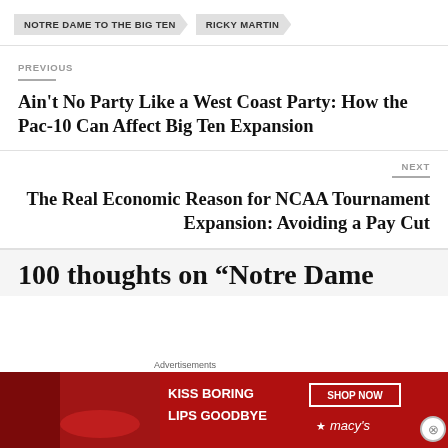NOTRE DAME TO THE BIG TEN | RICKY MARTIN
PREVIOUS
Ain't No Party Like a West Coast Party: How the Pac-10 Can Affect Big Ten Expansion
NEXT
The Real Economic Reason for NCAA Tournament Expansion: Avoiding a Pay Cut
100 thoughts on “Notre Dame...
[Figure (photo): Advertisement banner: KISS BORING LIPS GOODBYE - SHOP NOW - macys logo]